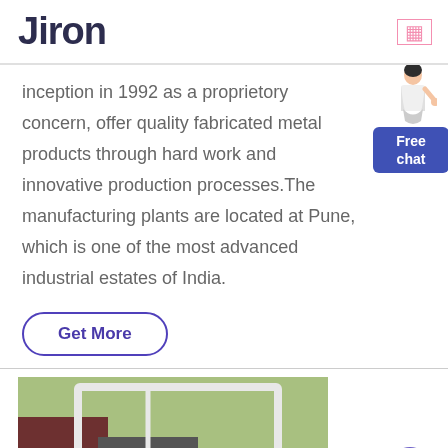Jiron
inception in 1992 as a proprietory concern, offer quality fabricated metal products through hard work and innovative production processes.The manufacturing plants are located at Pune, which is one of the most advanced industrial estates of India.
[Figure (infographic): Free chat widget with a female avatar and a blue button labeled 'Free chat']
Get More
[Figure (photo): Photo of metal fabricated products/machinery with XME watermark, showing metal frames and rollers outdoors]
[Figure (other): Purple circular button with an arrow/chat icon]